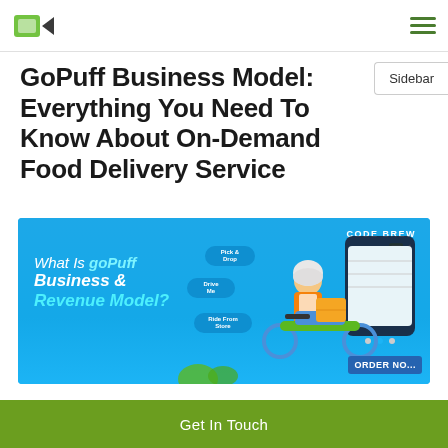Code Brew Labs logo and navigation menu
Sidebar
GoPuff Business Model: Everything You Need To Know About On-Demand Food Delivery Service
[Figure (illustration): Blue promotional banner reading 'What Is goPuff Business & Revenue Model?' with a delivery rider on a scooter, Code Brew Labs logo in top right, and chat bubbles with labels. ORDER NOW button in bottom right corner.]
Get In Touch